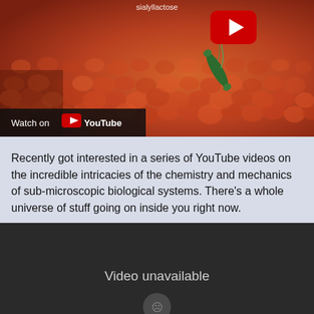[Figure (screenshot): YouTube video thumbnail showing a microscopic biological scene with orange/red cell-like structures and a dark green bacterium. Text 'sialyllactose' visible at top. Red YouTube play button at top center. 'Watch on YouTube' bar at bottom left.]
Recently got interested in a series of YouTube videos on the incredible intricacies of the chemistry and mechanics of sub-microscopic biological systems. There’s a whole universe of stuff going on inside you right now.
[Figure (screenshot): Embedded YouTube video player showing 'Video unavailable' message on dark background with a circle icon at bottom.]